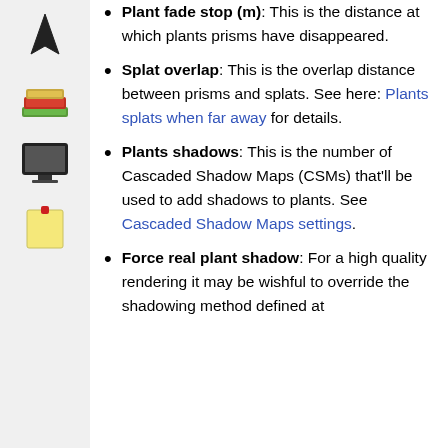[Figure (illustration): Sidebar with navigation icons: arrow/cursor icon, stacked books icon, monitor/screen icon, sticky note icon]
Plant fade stop (m): This is the distance at which plants prisms have disappeared.
Splat overlap: This is the overlap distance between prisms and splats. See here: Plants splats when far away for details.
Plants shadows: This is the number of Cascaded Shadow Maps (CSMs) that'll be used to add shadows to plants. See Cascaded Shadow Maps settings.
Force real plant shadow: For a high quality rendering it may be wishful to override the shadowing method defined at